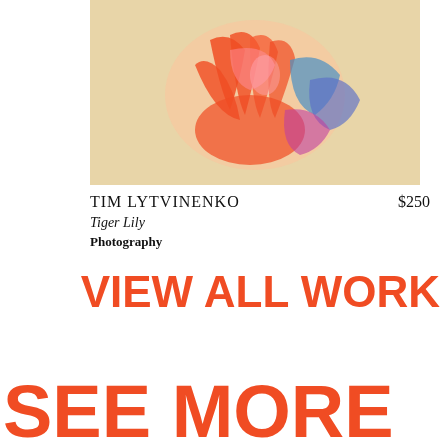[Figure (photo): Close-up colorful photograph of a hand with red, blue, and pink paint or crayon markings on a beige/cream background, titled Tiger Lily by Tim Lytvinenko]
TIM LYTVINENKO
Tiger Lily
Photography
$250
VIEW ALL WORK
SEE MORE